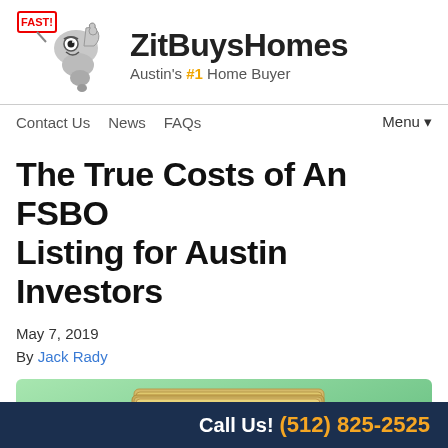ZitBuysHomes — Austin's #1 Home Buyer
Contact Us  News  FAQs  Menu▼
The True Costs of An FSBO Listing for Austin Investors
May 7, 2019
By Jack Rady
[Figure (illustration): Illustration of stacked paper money bills with a gold coin in front, on a green background]
Call Us! (512) 825-2525